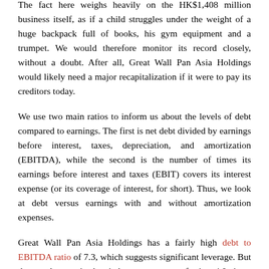The fact here weighs heavily on the HK$1,408 million business itself, as if a child struggles under the weight of a huge backpack full of books, his gym equipment and a trumpet. We would therefore monitor its record closely, without a doubt. After all, Great Wall Pan Asia Holdings would likely need a major recapitalization if it were to pay its creditors today.
We use two main ratios to inform us about the levels of debt compared to earnings. The first is net debt divided by earnings before interest, taxes, depreciation, and amortization (EBITDA), while the second is the number of times its earnings before interest and taxes (EBIT) covers its interest expense (or its coverage of interest, for short). Thus, we look at debt versus earnings with and without amortization expenses.
Great Wall Pan Asia Holdings has a fairly high debt to EBITDA ratio of 7.3, which suggests significant leverage. But the good news is that it has a pretty comforting 4.0 times interest coverage, which suggests it can meet its obligations responsibly. The silver lining is that Great Wall Pan Asia Holdings increased its EBIT by 782% last year, which nurtures like idealism among